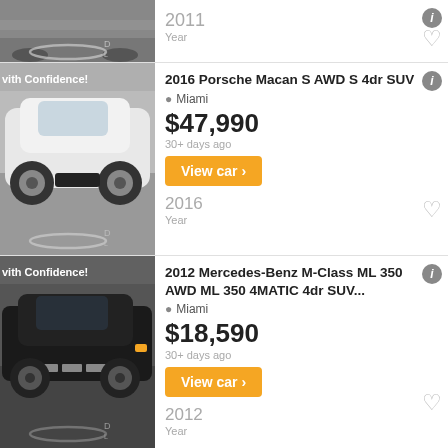[Figure (photo): Partial car listing image at top, clipped]
2011
Year
[Figure (photo): White Porsche Macan S AWD 4dr SUV with 'Vith Confidence!' banner]
2016 Porsche Macan S AWD S 4dr SUV
Miami
$47,990
30+ days ago
View car >
2016
Year
[Figure (photo): Black Mercedes-Benz M-Class ML 350 SUV with 'Vith Confidence!' banner]
2012 Mercedes-Benz M-Class ML 350 AWD ML 350 4MATIC 4dr SUV...
Miami
$18,590
30+ days ago
View car >
2012
Year
[Figure (photo): Partial listing image at bottom, clipped]
2014 Hyundai Santa Fe Limited AWD